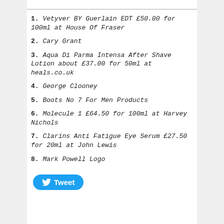1. Vetyver BY Guerlain EDT £50.00 for 100ml at House Of Fraser
2. Cary Grant
3. Aqua Di Parma Intensa After Shave Lotion about £37.00 for 50ml at heals.co.uk
4. George Clooney
5. Boots No 7 For Men Products
6. Molecule 1 £64.50 for 100ml at Harvey Nichols
7. Clarins Anti Fatigue Eye Serum £27.50 for 20ml at John Lewis
8. Mark Powell Logo
[Figure (other): Twitter Tweet button]